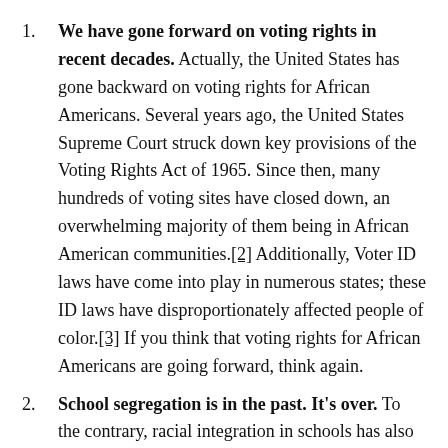We have gone forward on voting rights in recent decades. Actually, the United States has gone backward on voting rights for African Americans. Several years ago, the United States Supreme Court struck down key provisions of the Voting Rights Act of 1965. Since then, many hundreds of voting sites have closed down, an overwhelming majority of them being in African American communities.[2] Additionally, Voter ID laws have come into play in numerous states; these ID laws have disproportionately affected people of color.[3] If you think that voting rights for African Americans are going forward, think again.
School segregation is in the past. It's over. To the contrary, racial integration in schools has also gone backward. This Atlantic article goes into great detail about school segregation in the United States. But the TL; DR (short for too long; didn't read) version is that